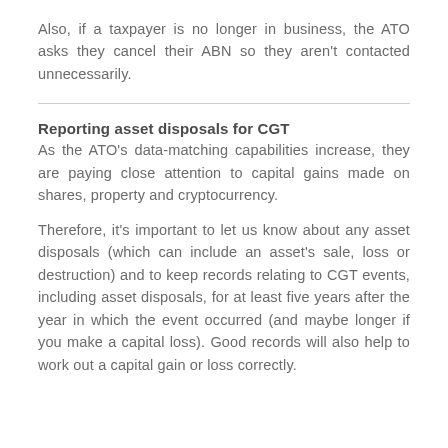Also, if a taxpayer is no longer in business, the ATO asks they cancel their ABN so they aren't contacted unnecessarily.
Reporting asset disposals for CGT
As the ATO's data-matching capabilities increase, they are paying close attention to capital gains made on shares, property and cryptocurrency.
Therefore, it's important to let us know about any asset disposals (which can include an asset's sale, loss or destruction) and to keep records relating to CGT events, including asset disposals, for at least five years after the year in which the event occurred (and maybe longer if you make a capital loss). Good records will also help to work out a capital gain or loss correctly.